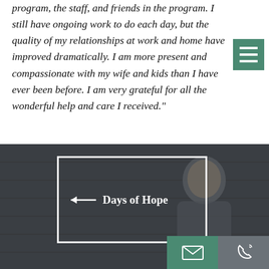program, the staff, and friends in the program. I still have ongoing work to do each day, but the quality of my relationships at work and home have improved dramatically. I am more present and compassionate with my wife and kids than I have ever been before. I am very grateful for all the wonderful help and care I received."
[Figure (photo): Dark background with a man's face partially visible on the right side. A white-bordered video frame overlay in the center-left area contains a left-pointing arrow and the text 'Days of Hope'. Two contact buttons (email and phone) appear at the bottom right.]